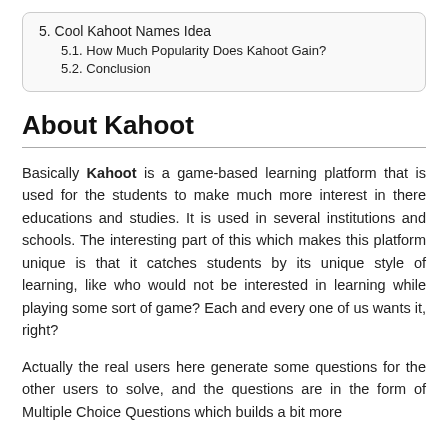5. Cool Kahoot Names Idea
5.1. How Much Popularity Does Kahoot Gain?
5.2. Conclusion
About Kahoot
Basically Kahoot is a game-based learning platform that is used for the students to make much more interest in there educations and studies. It is used in several institutions and schools. The interesting part of this which makes this platform unique is that it catches students by its unique style of learning, like who would not be interested in learning while playing some sort of game? Each and every one of us wants it, right?
Actually the real users here generate some questions for the other users to solve, and the questions are in the form of Multiple Choice Questions which builds a bit more